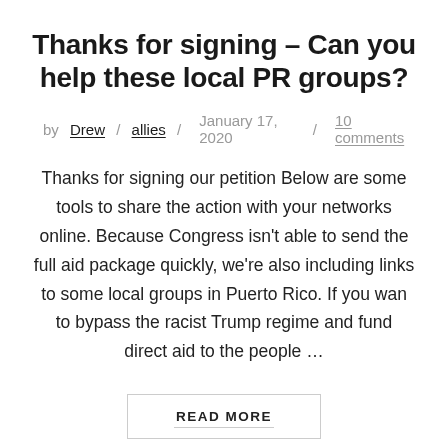Thanks for signing – Can you help these local PR groups?
by Drew / allies / January 17, 2020 / 10 comments
Thanks for signing our petition Below are some tools to share the action with your networks online. Because Congress isn't able to send the full aid package quickly, we're also including links to some local groups in Puerto Rico. If you wan to bypass the racist Trump regime and fund direct aid to the people …